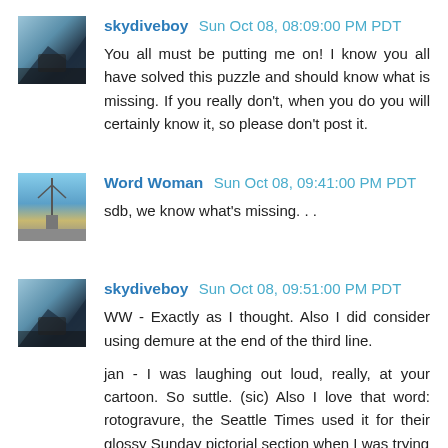[Figure (photo): Avatar image of skydiveboy - aerial/skydiving photo]
skydiveboy Sun Oct 08, 08:09:00 PM PDT
You all must be putting me on! I know you all have solved this puzzle and should know what is missing. If you really don't, when you do you will certainly know it, so please don't post it.
[Figure (photo): Avatar image of Word Woman - outdoor/antenna photo]
Word Woman Sun Oct 08, 09:41:00 PM PDT
sdb, we know what's missing. . .
[Figure (photo): Avatar image of skydiveboy - aerial/skydiving photo]
skydiveboy Sun Oct 08, 09:51:00 PM PDT
WW - Exactly as I thought. Also I did consider using demure at the end of the third line.

jan - I was laughing out loud, really, at your cartoon. So suttle. (sic) Also I love that word: rotogravure, the Seattle Times used it for their glossy Sunday pictorial section when I was trying